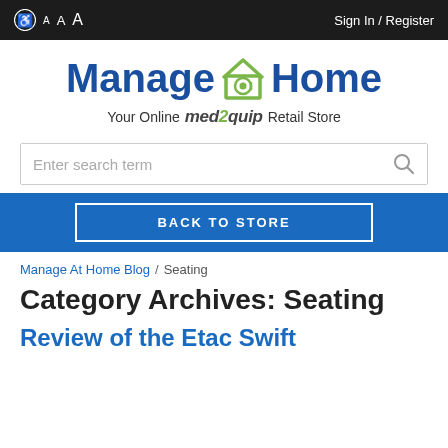♿ A A A   Sign In / Register
[Figure (logo): Manage@Home logo with house icon and '@' symbol. Tagline: Your Online MED2QUIP Retail Store]
Enter search term
BACK TO STORE
Manage At Home Blog / Seating
Category Archives: Seating
Review of the Etac Swift